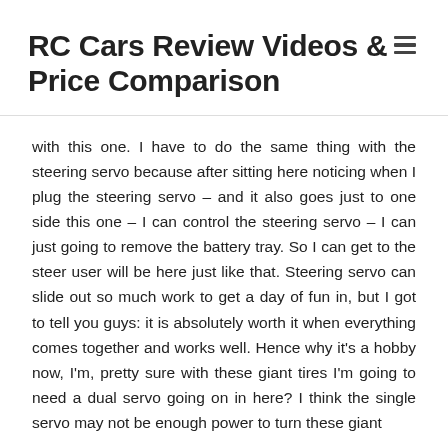RC Cars Review Videos & Price Comparison
with this one. I have to do the same thing with the steering servo because after sitting here noticing when I plug the steering servo – and it also goes just to one side this one – I can control the steering servo – I can just going to remove the battery tray. So I can get to the steer user will be here just like that. Steering servo can slide out so much work to get a day of fun in, but I got to tell you guys: it is absolutely worth it when everything comes together and works well. Hence why it's a hobby now, I'm, pretty sure with these giant tires I'm going to need a dual servo going on in here? I think the single servo may not be enough power to turn these giant